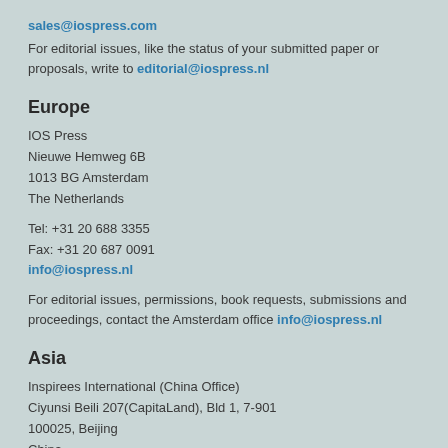sales@iospress.com
For editorial issues, like the status of your submitted paper or proposals, write to editorial@iospress.nl
Europe
IOS Press
Nieuwe Hemweg 6B
1013 BG Amsterdam
The Netherlands
Tel: +31 20 688 3355
Fax: +31 20 687 0091
info@iospress.nl
For editorial issues, permissions, book requests, submissions and proceedings, contact the Amsterdam office info@iospress.nl
Asia
Inspirees International (China Office)
Ciyunsi Beili 207(CapitaLand), Bld 1, 7-901
100025, Beijing
China
Free service line: 400 661 8717
Fax: +86 10 8446 7947